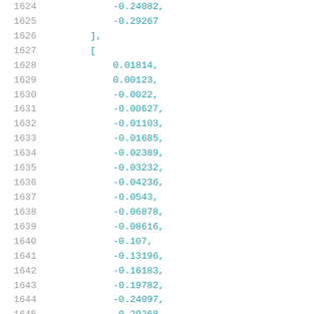1624    -0.24082,
1625    -0.29267
1626    ],
1627    [
1628        0.01814,
1629        0.00123,
1630        -0.0022,
1631        -0.00627,
1632        -0.01103,
1633        -0.01685,
1634        -0.02389,
1635        -0.03232,
1636        -0.04236,
1637        -0.0543,
1638        -0.06878,
1639        -0.08616,
1640        -0.107,
1641        -0.13196,
1642        -0.16183,
1643        -0.19782,
1644        -0.24097,
1645        -0.29268